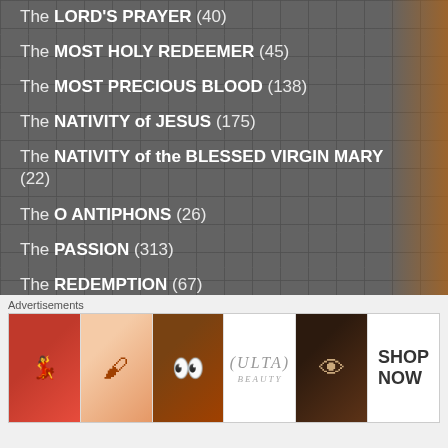The LORD'S PRAYER (40)
The MOST HOLY REDEEMER (45)
The MOST PRECIOUS BLOOD (138)
The NATIVITY of JESUS (175)
The NATIVITY of the BLESSED VIRGIN MARY (22)
The O ANTIPHONS (26)
The PASSION (313)
The REDEMPTION (67)
The RESURRECTION (124)
The SECOND COMING (34)
The SEVEN LAST WORDS of CHRIST (15)
Advertisements
[Figure (photo): Ulta Beauty advertisement banner showing makeup imagery including lips, makeup brush, eye, Ulta logo, face with dramatic eye makeup, and SHOP NOW text]